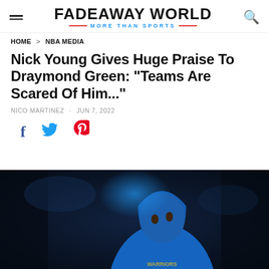FADEAWAY WORLD — MORE THAN SPORTS
HOME > NBA MEDIA
Nick Young Gives Huge Praise To Draymond Green: "Teams Are Scared Of Him..."
NICO MARTINEZ · JUN 7, 2022
[Figure (other): Social sharing icons: Facebook (f), Twitter (bird), Pinterest (P)]
[Figure (photo): Basketball player wearing a blue Golden State Warriors hoodie, looking upward, photographed in a dark arena with blue lighting in the background]